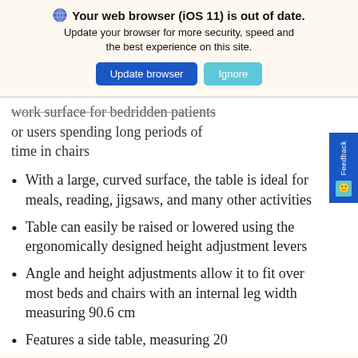[Figure (screenshot): Browser update notification banner with globe icon, title 'Your web browser (iOS 11) is out of date.', subtitle text, and two buttons: 'Update browser' (blue) and 'Ignore' (teal)]
work surface for bedridden patients or users spending long periods of time in chairs
With a large, curved surface, the table is ideal for meals, reading, jigsaws, and many other activities
Table can easily be raised or lowered using the ergonomically designed height adjustment levers
Angle and height adjustments allow it to fit over most beds and chairs with an internal leg width measuring 90.6 cm
Features a side table, measuring 20